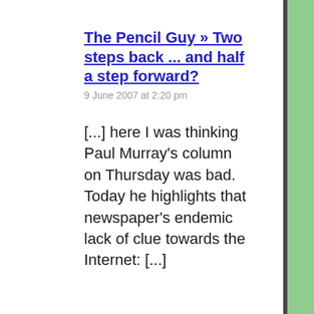The Pencil Guy » Two steps back ... and half a step forward?
9 June 2007 at 2:20 pm
[...] here I was thinking Paul Murray's column on Thursday was bad. Today he highlights that newspaper's endemic lack of clue towards the Internet: [...]